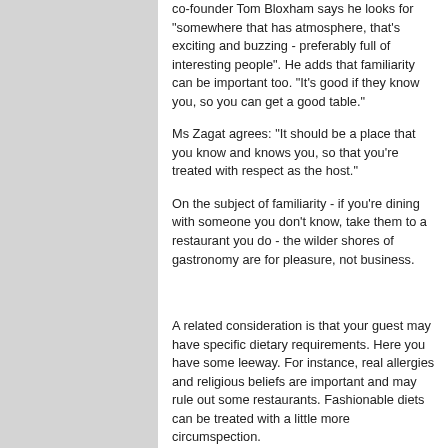co-founder Tom Bloxham says he looks for "somewhere that has atmosphere, that's exciting and buzzing - preferably full of interesting people". He adds that familiarity can be important too. "It's good if they know you, so you can get a good table."
Ms Zagat agrees: "It should be a place that you know and knows you, so that you're treated with respect as the host."
On the subject of familiarity - if you're dining with someone you don't know, take them to a restaurant you do - the wilder shores of gastronomy are for pleasure, not business.
A related consideration is that your guest may have specific dietary requirements. Here you have some leeway. For instance, real allergies and religious beliefs are important and may rule out some restaurants. Fashionable diets can be treated with a little more circumspection.